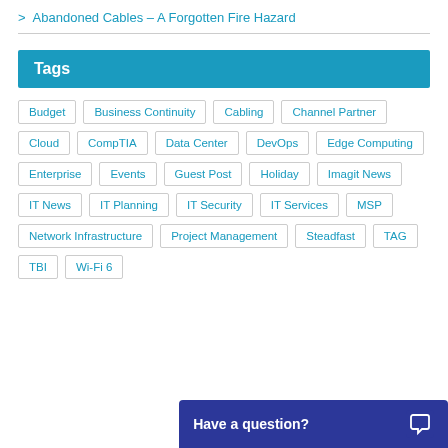Abandoned Cables – A Forgotten Fire Hazard
Tags
Budget
Business Continuity
Cabling
Channel Partner
Cloud
CompTIA
Data Center
DevOps
Edge Computing
Enterprise
Events
Guest Post
Holiday
Imagit News
IT News
IT Planning
IT Security
IT Services
MSP
Network Infrastructure
Project Management
Steadfast
TAG
TBI
Wi-Fi 6
Have a question?